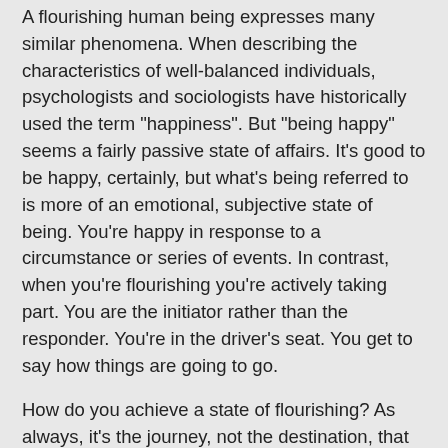A flourishing human being expresses many similar phenomena. When describing the characteristics of well-balanced individuals, psychologists and sociologists have historically used the term "happiness". But "being happy" seems a fairly passive state of affairs. It's good to be happy, certainly, but what's being referred to is more of an emotional, subjective state of being. You're happy in response to a circumstance or series of events. In contrast, when you're flourishing you're actively taking part. You are the initiator rather than the responder. You're in the driver's seat. You get to say how things are going to go.
How do you achieve a state of flourishing? As always, it's the journey, not the destination, that provides the biggest payoff - in this case, a joyous, fulfilling life. Flourishing as such is not an endpoint - it's a moving target. We need to be proactive to replenish, reinvigorate, and revivify our continuing cycle of 24-hour allotments. We want to live, rather than merely exist. Living requires imagination, invention, interest, and action. Flourishing is an outcome of playing full out, of active participation in life.